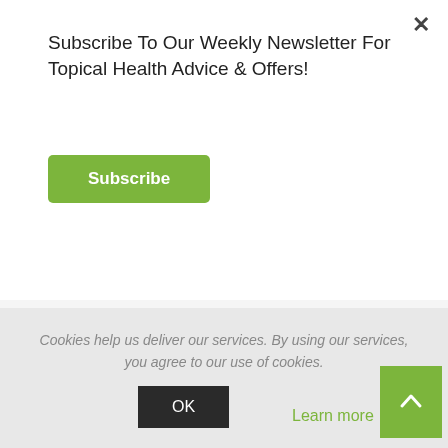Subscribe To Our Weekly Newsletter For Topical Health Advice & Offers!
Wednesday, July 15, 2015
If so you form part of the 50% of Westerners who suffer from insomnia at some stage in their lives. Hot clammy conditions can obviously affect our sleep patterns, but we can take steps to achieve better, more reparative sleep:
Cookies help us deliver our services. By using our services, you agree to our use of cookies.